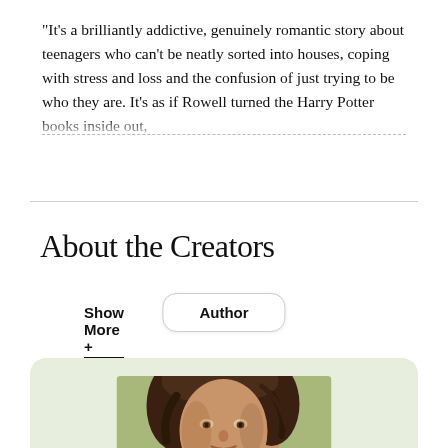"It's a brilliantly addictive, genuinely romantic story about teenagers who can't be neatly sorted into houses, coping with stress and loss and the confusion of just trying to be who they are. It's as if Rowell turned the Harry Potter books inside out, ...
Show More +
About the Creators
Author
[Figure (photo): Author photo: a woman with curly/wavy brown hair smiling slightly, photographed outdoors with a green/yellow blurred background]